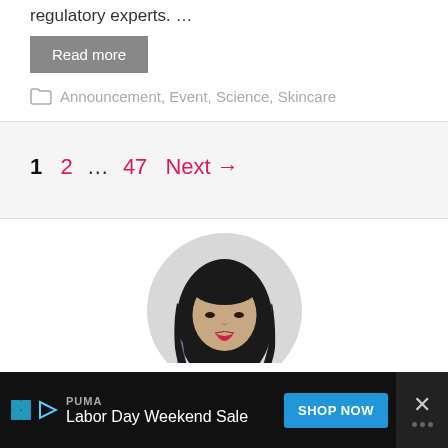regulatory experts. …
Read more
Announcement, Event, Science, Skincare
1  2  …  47  Next →
[Figure (photo): Circular profile photo of a young woman with black hair and purple highlights, wearing red lipstick, on a light gray background.]
PUMA Labor Day Weekend Sale SHOP NOW